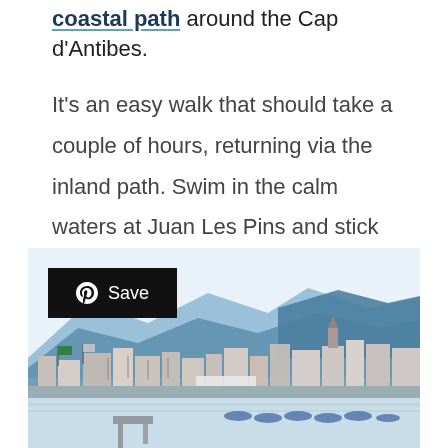coastal path around the Cap d'Antibes. It's an easy walk that should take a couple of hours, returning via the inland path. Swim in the calm waters at Juan Les Pins and stick around for the sunset if you can.
[Figure (photo): Coastal city panorama showing a waterfront with mountains in the background, buildings, flags, boats, beach umbrellas, and calm water in the foreground]